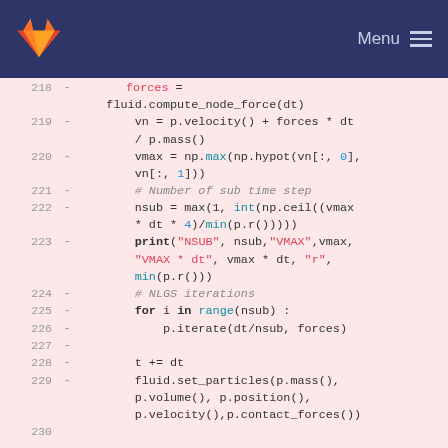GitLab — Menu
[Figure (screenshot): Code diff view showing Python source lines 218-230 with removed lines (marked with -) on a pink background. Lines include fluid.compute_node_force, velocity/force computation, vmax calculation, nsub computation, print statement, NLGS iteration loop, and fluid.set_particles call.]